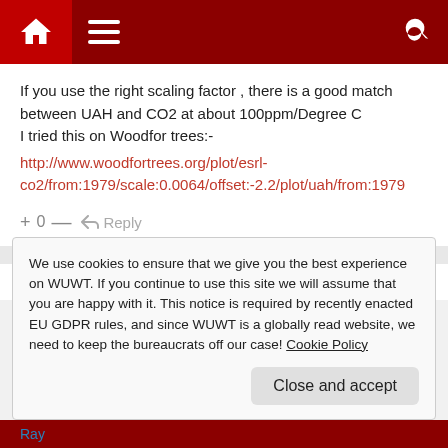Navigation bar with home, menu, and search icons
If you use the right scaling factor , there is a good match between UAH and CO2 at about 100ppm/Degree C
I tried this on Woodfor trees:-
http://www.woodfortrees.org/plot/esrl-co2/from:1979/scale:0.0064/offset:-2.2/plot/uah/from:1979
+ 0 — ↳ Reply
John Edmondson
We use cookies to ensure that we give you the best experience on WUWT. If you continue to use this site we will assume that you are happy with it. This notice is required by recently enacted EU GDPR rules, and since WUWT is a globally read website, we need to keep the bureaucrats off our case! Cookie Policy
Close and accept
Ray